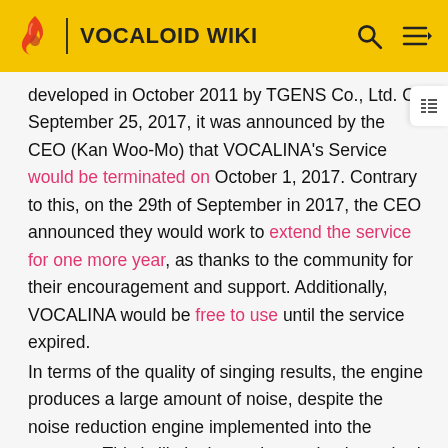VOCALOID WIKI
developed in October 2011 by TGENS Co., Ltd. On September 25, 2017, it was announced by the CEO (Kan Woo-Mo) that VOCALINA's Service would be terminated on October 1, 2017. Contrary to this, on the 29th of September in 2017, the CEO announced they would work to extend the service for one more year, as thanks to the community for their encouragement and support. Additionally, VOCALINA would be free to use until the service expired.
In terms of the quality of singing results, the engine produces a large amount of noise, despite the noise reduction engine implemented into the program. This is likely due to the synthesis method itself being Diphonetic Synthesis, a type of concatenative speech synthesis